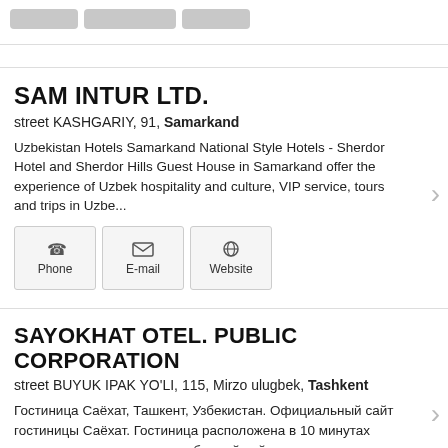[Figure (other): Top navigation buttons (partially visible)]
SAM INTUR LTD.
street KASHGARIY, 91, Samarkand
Uzbekistan Hotels Samarkand National Style Hotels - Sherdor Hotel and Sherdor Hills Guest House in Samarkand offer the experience of Uzbek hospitality and culture, VIP service, tours and trips in Uzbe...
Phone
E-mail
Website
SAYOKHAT OTEL. PUBLIC CORPORATION
street BUYUK IPAK YO'LI, 115, Mirzo ulugbek, Tashkent
Гостиница Саёхат, Ташкент, Узбекистан. Официальный сайт гостиницы Саёхат. Гостиница расположена в 10 минутах езды от центра города, а до ближайшей станции метро всего несколько...